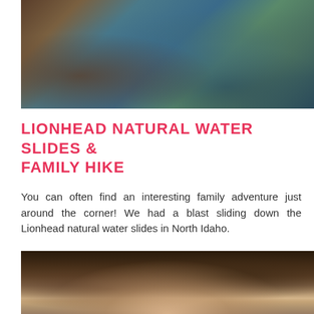[Figure (photo): Aerial or close-up view of a natural water stream with rocks, dappled light and shadows on water surface, forest floor visible]
LIONHEAD NATURAL WATER SLIDES & FAMILY HIKE
You can often find an interesting family adventure just around the corner! We had a blast sliding down the Lionhead natural water slides in North Idaho.
[Figure (photo): A teenage girl with long brown hair smiling, standing in front of a rustic wooden log structure/building, holding a pink object, wearing a pink top]